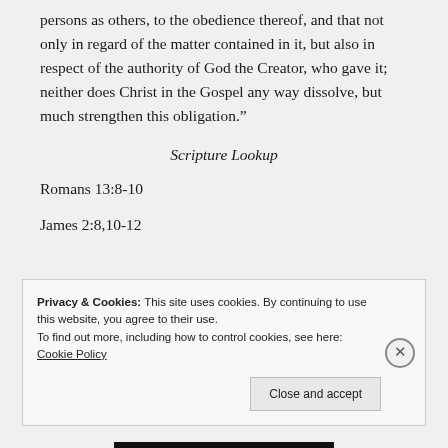persons as others, to the obedience thereof, and that not only in regard of the matter contained in it, but also in respect of the authority of God the Creator, who gave it; neither does Christ in the Gospel any way dissolve, but much strengthen this obligation.”
Scripture Lookup
Romans 13:8-10
James 2:8,10-12
Privacy & Cookies: This site uses cookies. By continuing to use this website, you agree to their use.
To find out more, including how to control cookies, see here: Cookie Policy
Close and accept